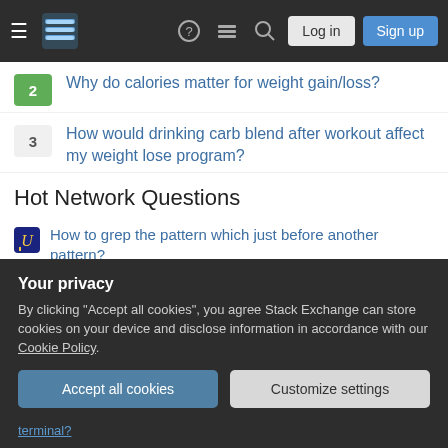Stack Exchange navigation bar with Log in and Sign up buttons
2 Why do calories matter for weight gain/loss?
3 How would drinking carb blend after workout affect my weight lose program?
Hot Network Questions
How to grep the pattern which just before another pattern?
Is there a way to go from Macau to Hong Kong by public transport?
Why does mathematica repeat my differential equation again?Does it mean no solution?
Does it make sense to build a wall to protect a city from radioactive wasteland?
Your privacy
By clicking "Accept all cookies", you agree Stack Exchange can store cookies on your device and disclose information in accordance with our Cookie Policy.
terminal?